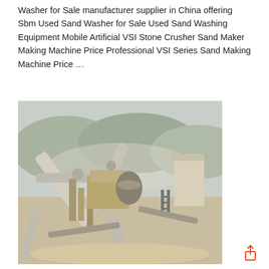Washer for Sale manufacturer supplier in China offering Sbm Used Sand Washer for Sale Used Sand Washing Equipment Mobile Artificial VSI Stone Crusher Sand Maker Making Machine Price Professional VSI Series Sand Making Machine Price …
[Figure (photo): Industrial sand washing and crushing equipment facility with conveyor belts, pipes, and machinery at an outdoor quarry or mining site. Dusty environment with mountains in the background.]